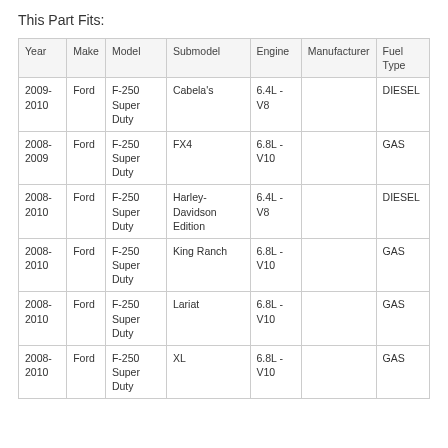This Part Fits:
| Year | Make | Model | Submodel | Engine | Manufacturer | Fuel Type |
| --- | --- | --- | --- | --- | --- | --- |
| 2009-2010 | Ford | F-250 Super Duty | Cabela's | 6.4L - V8 |  | DIESEL |
| 2008-2009 | Ford | F-250 Super Duty | FX4 | 6.8L - V10 |  | GAS |
| 2008-2010 | Ford | F-250 Super Duty | Harley-Davidson Edition | 6.4L - V8 |  | DIESEL |
| 2008-2010 | Ford | F-250 Super Duty | King Ranch | 6.8L - V10 |  | GAS |
| 2008-2010 | Ford | F-250 Super Duty | Lariat | 6.8L - V10 |  | GAS |
| 2008-2010 | Ford | F-250 Super Duty | XL | 6.8L - V10 |  | GAS |